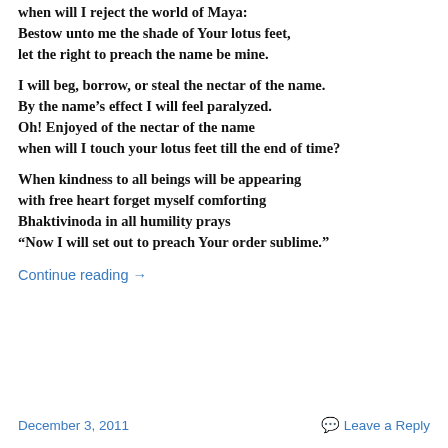when will I reject the world of Maya:
Bestow unto me the shade of Your lotus feet,
let the right to preach the name be mine.
I will beg, borrow, or steal the nectar of the name.
By the name’s effect I will feel paralyzed.
Oh! Enjoyed of the nectar of the name
when will I touch your lotus feet till the end of time?
When kindness to all beings will be appearing
with free heart forget myself comforting
Bhaktivinoda in all humility prays
“Now I will set out to preach Your order sublime.”
Continue reading →
December 3, 2011   Leave a Reply